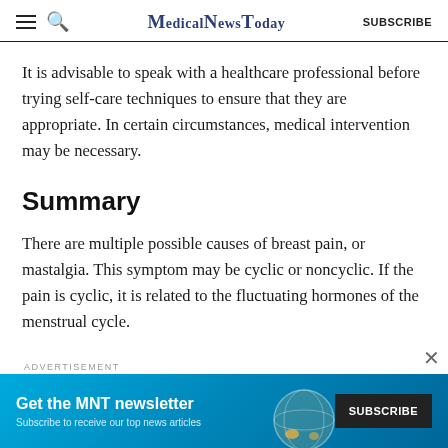MedicalNewsToday | SUBSCRIBE
It is advisable to speak with a healthcare professional before trying self-care techniques to ensure that they are appropriate. In certain circumstances, medical intervention may be necessary.
Summary
There are multiple possible causes of breast pain, or mastalgia. This symptom may be cyclic or noncyclic. If the pain is cyclic, it is related to the fluctuating hormones of the menstrual cycle.
[Figure (other): Advertisement banner for MNT newsletter with teal/blue gradient background, showing 'Get the MNT newsletter' text, a SUBSCRIBE button, and a partial globe graphic.]